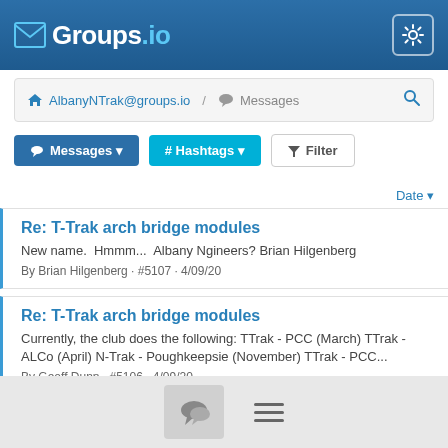Groups.io
AlbanyNTrak@groups.io / Messages
Messages ▼   # Hashtags ▼   Filter
Date ▼
Re: T-Trak arch bridge modules
New name.  Hmmm...  Albany Ngineers? Brian Hilgenberg
By Brian Hilgenberg · #5107 · 4/09/20
Re: T-Trak arch bridge modules
Currently, the club does the following: TTrak - PCC (March) TTrak - ALCo (April) N-Trak - Poughkeepsie (November) TTrak - PCC...
By Geoff Dunn · #5106 · 4/09/20